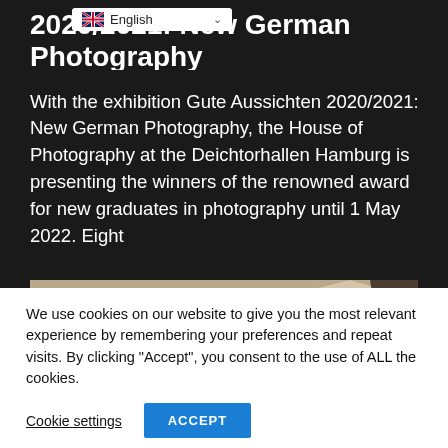Gute Aussichten 2020/2021: New German Photography
With the exhibition Gute Aussichten 2020/2021: New German Photography, the House of Photography at the Deichtorhallen Hamburg is presenting the winners of the renowned award for new graduates in photography until 1 May 2022. Eight
[Figure (photo): Exterior photograph of Rotterdam Centraal Station showing the angular modern canopy structure with 'CENTRAAL STATION' text visible, a person standing in front, and city buildings in the background.]
We use cookies on our website to give you the most relevant experience by remembering your preferences and repeat visits. By clicking “Accept”, you consent to the use of ALL the cookies.
Cookie settings   ACCEPT